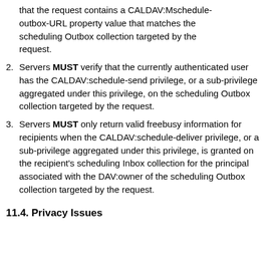that the request contains a CALDAV:Mschedule-outbox-URL property value that matches the scheduling Outbox collection targeted by the request.
2. Servers MUST verify that the currently authenticated user has the CALDAV:schedule-send privilege, or a sub-privilege aggregated under this privilege, on the scheduling Outbox collection targeted by the request.
3. Servers MUST only return valid freebusy information for recipients when the CALDAV:schedule-deliver privilege, or a sub-privilege aggregated under this privilege, is granted on the recipient's scheduling Inbox collection for the principal associated with the DAV:owner of the scheduling Outbox collection targeted by the request.
11.4. Privacy Issues